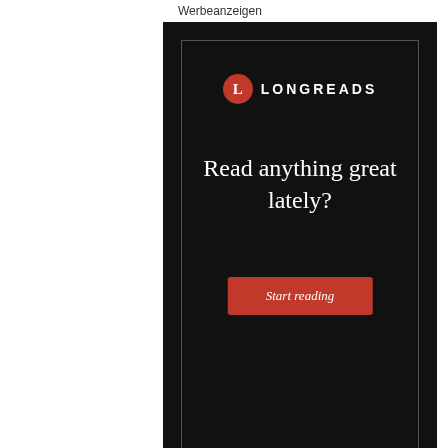Werbeanzeigen
[Figure (screenshot): Longreads advertisement on black background with logo, tagline 'Read anything great lately?' and red 'Start reading' button]
DIESE ANZEIGE MELDEN
Datenschutz & Cookies: Diese Website verwendet Cookies. Wenn du die Website weiterhin nutzt, stimmst du der Verwendung von Cookies zu. Weitere Informationen, beispielsweise zur Kontrolle von Cookies, findest du hier: Cookie-Richtlinie
Schließen und Akzeptieren
[Figure (photo): Bottom image strip showing partial photographs]